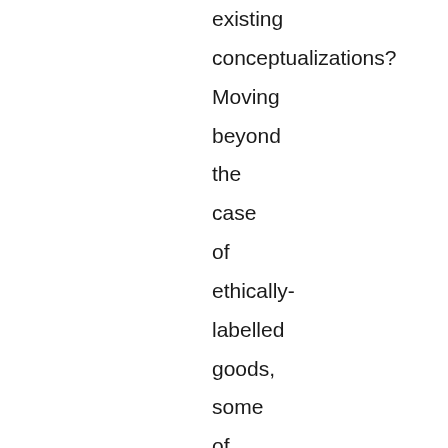existing conceptualizations? Moving beyond the case of ethically-labelled goods, some of the papers also broaden investigations to examine alternate moralities of